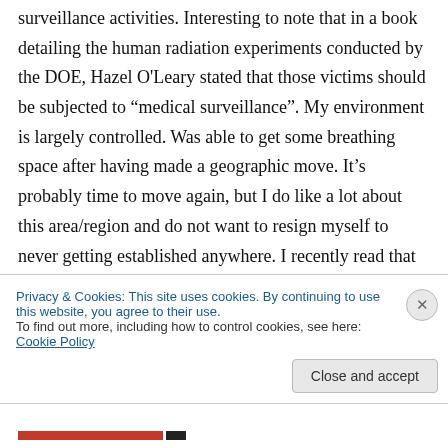surveillance activities. Interesting to note that in a book detailing the human radiation experiments conducted by the DOE, Hazel O'Leary stated that those victims should be subjected to “medical surveillance”. My environment is largely controlled. Was able to get some breathing space after having made a geographic move. It’s probably time to move again, but I do like a lot about this area/region and do not want to resign myself to never getting established anywhere. I recently read that the
Privacy & Cookies: This site uses cookies. By continuing to use this website, you agree to their use.
To find out more, including how to control cookies, see here: Cookie Policy